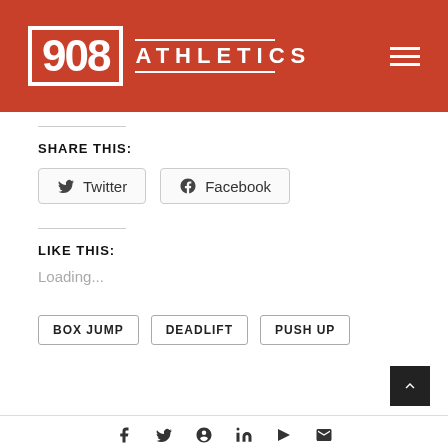[Figure (logo): 908 Athletics logo on red header background with hamburger menu icon]
SHARE THIS:
Twitter  Facebook
LIKE THIS:
Loading...
BOX JUMP
DEADLIFT
PUSH UP
Social media icons footer with scroll-to-top button